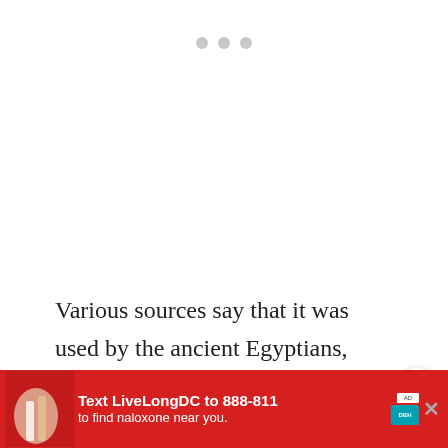[Figure (other): Loading placeholder with three gray dots]
Various sources say that it was used by the ancient Egyptians, Greeks and Romans.  Some say it boosted the sex drive, and others say it was use slow the sex drive.  Regardless of the e
[Figure (other): Share button icon (circular button with share symbol)]
[Figure (other): What's Next promotional widget showing 'How to Make Pickled Eggs' with a thumbnail of a jar]
[Figure (other): Advertisement banner: 'Text LiveLongDC to 888-811 to find naloxone near you.' Red background with health campaign imagery]